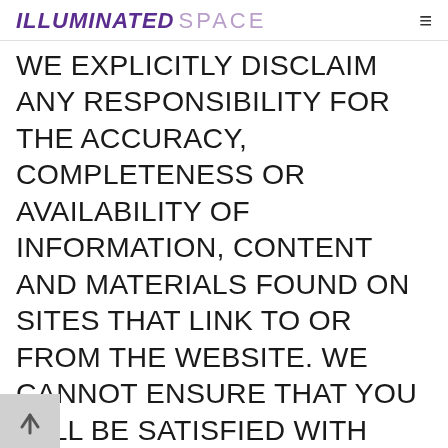ILLUMINATED SPACE
WE EXPLICITLY DISCLAIM ANY RESPONSIBILITY FOR THE ACCURACY, COMPLETENESS OR AVAILABILITY OF INFORMATION, CONTENT AND MATERIALS FOUND ON SITES THAT LINK TO OR FROM THE WEBSITE. WE CANNOT ENSURE THAT YOU WILL BE SATISFIED WITH ANY PRODUCT OR SERVICE THAT YOU PURCHASE FROM A THIRD PARTY WEBSITE THAT LINKS TO OR FROM THE WEBSITE OR THIRD PARTY INFORMATION, CONTENT OR MATERIALS CONTAINED ON OUR WEBSITE. WE DO NOT ENDORSE ANY OF THE